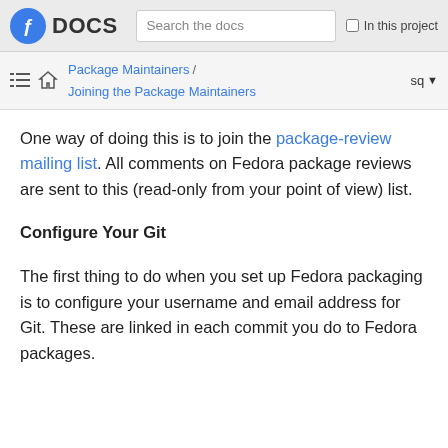Fedora DOCS | Search the docs | In this project
Package Maintainers / Joining the Package Maintainers | sq
One way of doing this is to join the package-review mailing list. All comments on Fedora package reviews are sent to this (read-only from your point of view) list.
Configure Your Git
The first thing to do when you set up Fedora packaging is to configure your username and email address for Git. These are linked in each commit you do to Fedora packages.